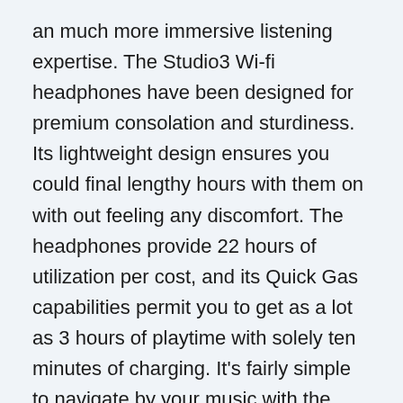an much more immersive listening expertise. The Studio3 Wi-fi headphones have been designed for premium consolation and sturdiness. Its lightweight design ensures you could final lengthy hours with them on with out feeling any discomfort. The headphones provide 22 hours of utilization per cost, and its Quick Gas capabilities permit you to get as a lot as 3 hours of playtime with solely ten minutes of charging. It's fairly simple to navigate by your music with the Studio3 Wi-fi headphones due to the left ear cup's controls that permit you to alter the quantity, play, and change between earlier or subsequent tracks. It's also possible to activate Siri for straightforward voice management. Clients will obtain a common USB charging cable, 3.5mm RemoteTalk cable, and a carrying case together with the headphones.